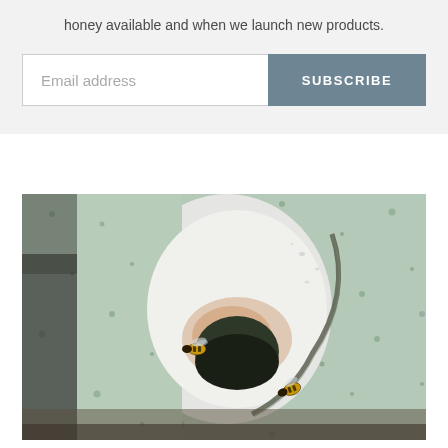honey available and when we launch new products.
Email address
SUBSCRIBE
[Figure (photo): Close-up photograph of a green speckled beehive entrance with two honeybees visible near a round white entrance hole, set against a blurred background.]